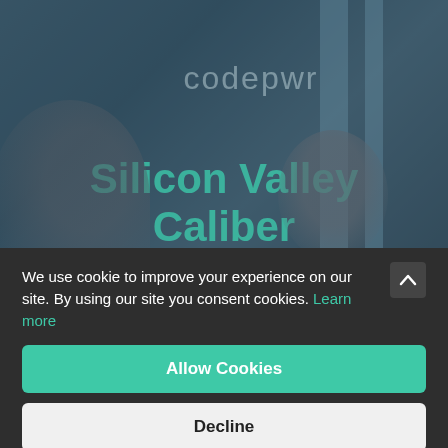[Figure (screenshot): Background image showing a dark blue-teal tinted website hero section with 'codepwr' text and 'Silicon Valley Caliber' text overlaid, with two vertical bars on the right side and silhouettes of people]
We use cookie to improve your experience on our site. By using our site you consent cookies. Learn more
Allow Cookies
Decline